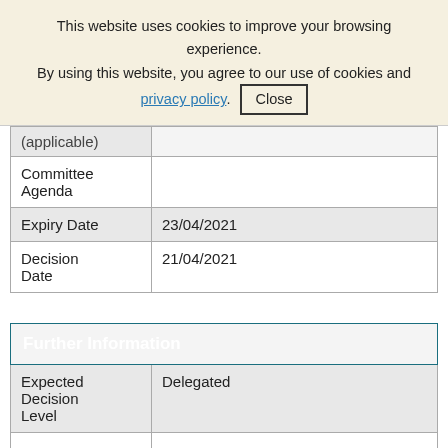This website uses cookies to improve your browsing experience. By using this website, you agree to our use of cookies and privacy policy. Close
| (applicable) |  |
| Committee Agenda |  |
| Expiry Date | 23/04/2021 |
| Decision Date | 21/04/2021 |
| Further Information |  |
| --- | --- |
| Expected Decision Level | Delegated |
|  |  |